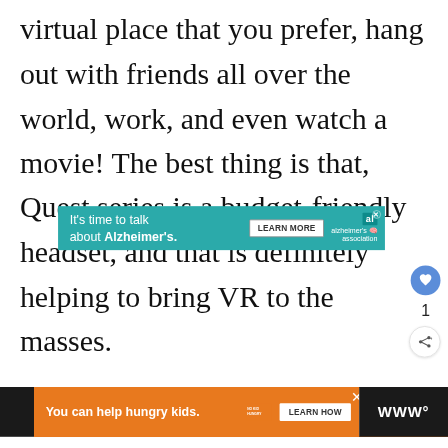virtual place that you prefer, hang out with friends all over the world, work, and even watch a movie! The best thing is that, Quest series is a budget-friendly headset, and that is definitely helping to bring VR to the masses.
[Figure (other): Advertisement banner: teal background with text 'It's time to talk about Alzheimer's.' and 'LEARN MORE' button, Alzheimer's Association logo]
[Figure (other): Heart/like button (blue circle with heart icon) with count '1' and share button below]
[Figure (other): Bottom advertisement bar: orange background with 'You can help hungry kids.' text, No Kid Hungry logo, and 'LEARN HOW' button, on black sidebar]